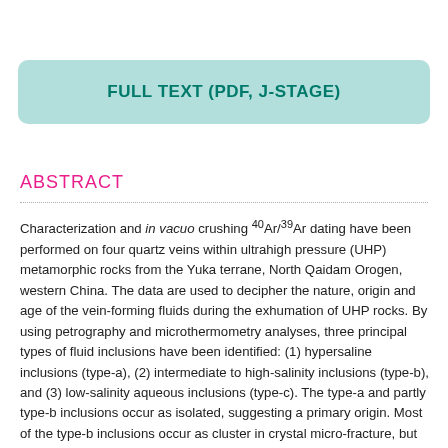FULL TEXT (PDF, J-STAGE)
ABSTRACT
Characterization and in vacuo crushing 40Ar/39Ar dating have been performed on four quartz veins within ultrahigh pressure (UHP) metamorphic rocks from the Yuka terrane, North Qaidam Orogen, western China. The data are used to decipher the nature, origin and age of the vein-forming fluids during the exhumation of UHP rocks. By using petrography and microthermometry analyses, three principal types of fluid inclusions have been identified: (1) hypersaline inclusions (type-a), (2) intermediate to high-salinity inclusions (type-b), and (3) low-salinity aqueous inclusions (type-c). The type-a and partly type-b inclusions occur as isolated, suggesting a primary origin. Most of the type-b inclusions occur as cluster in crystal micro-fracture, but never crosscut the crystal boundaries between individual quartz grains, indicating they are pseudo-secondary inclusions. The type-c